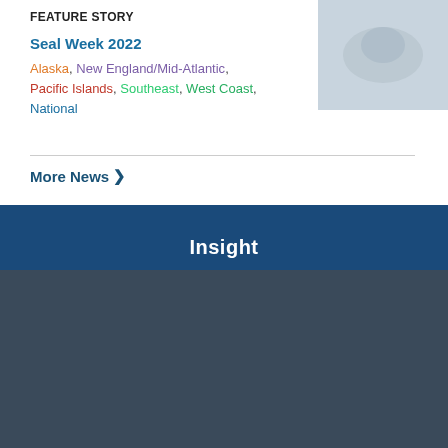FEATURE STORY
Seal Week 2022
Alaska, New England/Mid-Atlantic, Pacific Islands, Southeast, West Coast, National
[Figure (photo): Thumbnail image related to Seal Week 2022]
More News ›
Insight
We'd welcome your feedback!
Can we send you a brief survey so we can improve your experience on this website?
Text me
Email me
Powered by Verint Experience Cloud